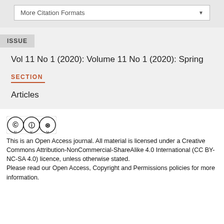More Citation Formats
ISSUE
Vol 11 No 1 (2020): Volume 11 No 1 (2020): Spring
SECTION
Articles
[Figure (logo): Creative Commons BY NC SA license logo]
This is an Open Access journal. All material is licensed under a Creative Commons Attribution-NonCommercial-ShareAlike 4.0 International (CC BY-NC-SA 4.0) licence, unless otherwise stated.
Please read our Open Access, Copyright and Permissions policies for more information.